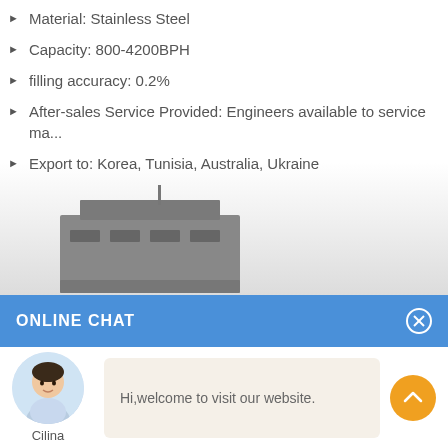Material: Stainless Steel
Capacity: 800-4200BPH
filling accuracy: 0.2%
After-sales Service Provided: Engineers available to service ma...
Export to: Korea, Tunisia, Australia, Ukraine
[Figure (photo): Industrial machine/equipment partially visible at bottom of main area]
ONLINE CHAT
[Figure (photo): Chat avatar photo of a woman named Cilina]
Hi,welcome to visit our website.
Cilina